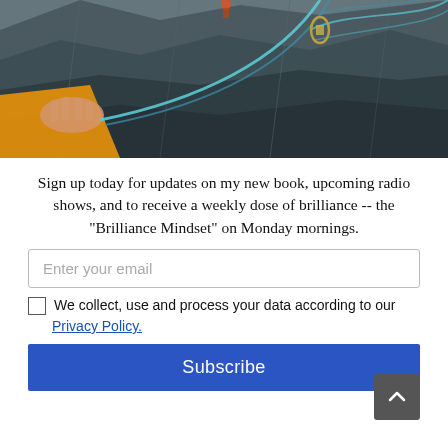[Figure (photo): A close-up photo of a person's hand holding climbing ropes on a rocky cliff face, with an orange jacket visible and a climber in the distance above.]
Sign up today for updates on my new book, upcoming radio shows, and to receive a weekly dose of brilliance -- the "Brilliance Mindset" on Monday mornings.
Enter your email
We collect, use and process your data according to our Privacy Policy.
Subscribe